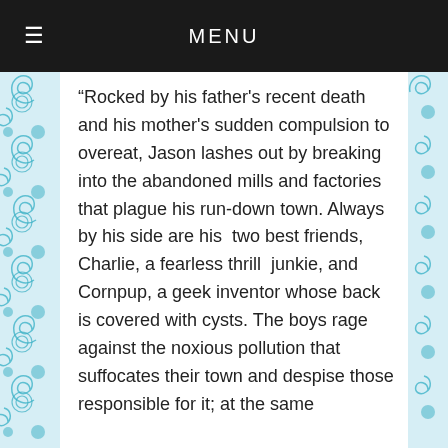MENU
“Rocked by his father's recent death and his mother's sudden compulsion to overeat, Jason lashes out by breaking into the abandoned mills and factories that plague his run-down town. Always by his side are his two best friends, Charlie, a fearless thrill junkie, and Cornpup, a geek inventor whose back is covered with cysts. The boys rage against the noxious pollution that suffocates their town and despise those responsible for it; at the same